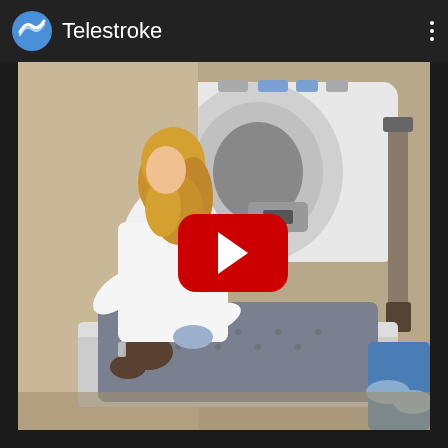Telestroke
[Figure (screenshot): A YouTube video thumbnail showing a medical scene with a healthcare provider in a white coat attending to a patient lying on a CT scanner bed. Another person in blue scrubs is visible at the right. A large red YouTube play button is overlaid in the center of the image.]